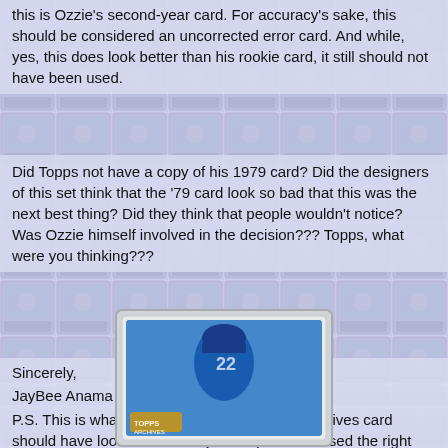this is Ozzie's second-year card. For accuracy's sake, this should be considered an uncorrected error card. And while, yes, this does look better than his rookie card, it still should not have been used.
Did Topps not have a copy of his 1979 card? Did the designers of this set think that the '79 card look so bad that this was the next best thing? Did they think that people wouldn't notice? Was Ozzie himself involved in the decision??? Topps, what were you thinking???
Sincerely,
JayBee Anama
P.S. This is what Ozzie Smith's 2001 Topps Archives card should have looked like if they could just have used the right card:
[Figure (photo): A baseball card showing Ozzie Smith in a blue cap/jersey, with a gold Topps Archives logo stamp at the bottom left, displayed in a card holder/case.]